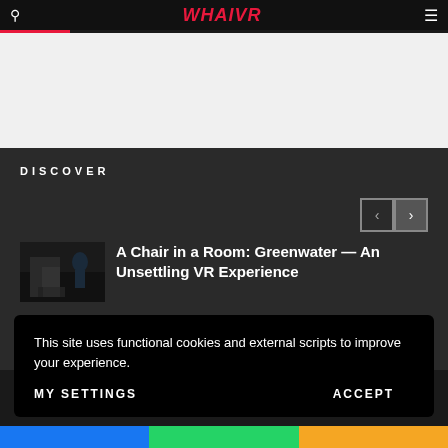WHAIVR
[Figure (screenshot): Gray banner/advertisement area]
DISCOVER
[Figure (photo): Dark thumbnail image of a chair in a room scene]
A Chair in a Room: Greenwater — An Unsettling VR Experience
This site uses functional cookies and external scripts to improve your experience.
MY SETTINGS   ACCEPT
Social share bar: Facebook, WhatsApp, other